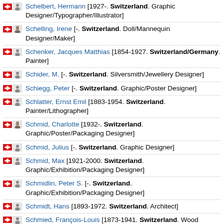Schelbert, Hermann [1927-. Switzerland. Graphic Designer/Typographer/Illustrator]
Schelling, Irene [-. Switzerland. Doll/Mannequin Designer/Maker]
Schenker, Jacques Matthias [1854-1927. Switzerland/Germany. Painter]
Schider, M. [-. Switzerland. Silversmith/Jewellery Designer]
Schiegg, Peter [-. Switzerland. Graphic/Poster Designer]
Schlatter, Ernst Emil [1883-1954. Switzerland. Painter/Lithographer]
Schmid, Charlotte [1932-. Switzerland. Graphic/Poster/Packaging Designer]
Schmid, Julius [-. Switzerland. Graphic Designer]
Schmid, Max [1921-2000. Switzerland. Graphic/Exhibition/Packaging Designer]
Schmidlin, Peter S. [-. Switzerland. Graphic/Exhibition/Packaging Designer]
Schmidt, Hans [1893-1972. Switzerland. Architect]
Schmied, François-Louis [1873-1941. Switzerland. Wood Engraver/Painter/II]
Schmutz, R. [-. Switzerland. Graphic Designer]
Schneck, Albert [-. Switzerland. Graphic Designer]